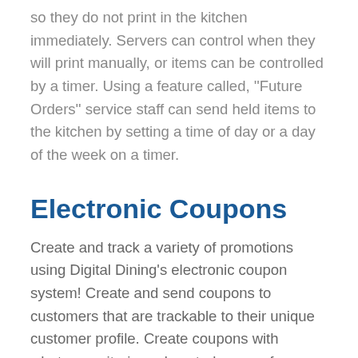so they do not print in the kitchen immediately. Servers can control when they will print manually, or items can be controlled by a timer. Using a feature called, ''Future Orders'' service staff can send held items to the kitchen by setting a time of day or a day of the week on a timer.
Electronic Coupons
Create and track a variety of promotions using Digital Dining's electronic coupon system! Create and send coupons to customers that are trackable to their unique customer profile. Create coupons with whatever criteria and control you prefer, including one-time or multiple use, set expiry dates, coupon amount and included items...